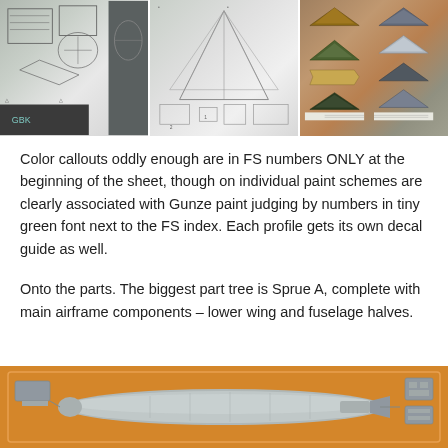[Figure (photo): Three photo panels showing model kit instruction sheets and paint scheme profiles for what appears to be a delta-wing jet aircraft (likely Mirage or similar). Left panel shows assembly diagrams, middle panel shows more diagrams and parts layout, right panel shows colored camouflage profile views of the aircraft from multiple angles.]
Color callouts oddly enough are in FS numbers ONLY at the beginning of the sheet, though on individual paint schemes are clearly associated with Gunze paint judging by numbers in tiny green font next to the FS index. Each profile gets its own decal guide as well.
Onto the parts. The biggest part tree is Sprue A, complete with main airframe components – lower wing and fuselage halves.
[Figure (photo): Photo of Sprue A from a model kit, showing grey plastic parts on an orange/tan sprue background. The main parts visible are large fuselage halves and wing components of a delta-wing jet aircraft.]